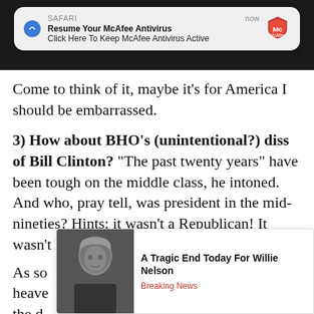[Figure (screenshot): Safari browser notification popup for McAfee Antivirus: 'Resume Your McAfee Antivirus / Click Here To Keep McAfee Antivirus Active' with McAfee logo and 'now' timestamp]
Come to think of it, maybe it’s for America I should be embarrassed.
3) How about BHO’s (unintentional?) diss of Bill Clinton? “The past twenty years” have been tough on the middle class, he intoned. And who, pray tell, was president in the mid-nineties? Hints: it wasn’t a Republican! It wasn’t Laura Bush’s husband!
As so[me...obscured...] na heave[n...obscured...] to the d[emocrat...obscured...] ya fiasco[...obscured...] night[...obscured...]
[Figure (screenshot): Ad overlay: 'A Tragic End Today For Willie Nelson / Breaking News' with photo of Willie Nelson]